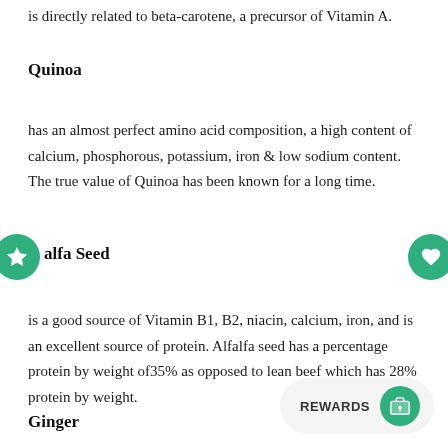is directly related to beta-carotene, a precursor of Vitamin A.
Quinoa
has an almost perfect amino acid composition, a high content of calcium, phosphorous, potassium, iron & low sodium content. The true value of Quinoa has been known for a long time.
Alfa Seed
is a good source of Vitamin B1, B2, niacin, calcium, iron, and is an excellent source of protein. Alfalfa seed has a percentage protein by weight of35% as opposed to lean beef which has 28% protein by weight.
Ginger